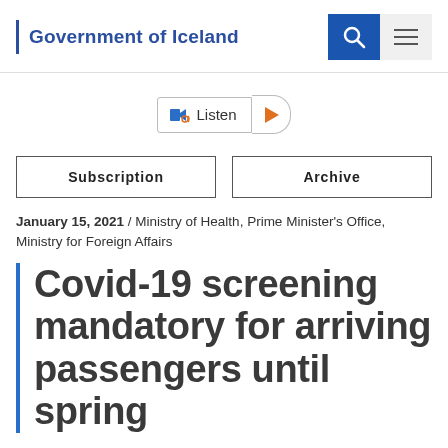Government of Iceland
[Figure (other): Listen audio button with play control]
| Subscription | Archive |
| --- | --- |
January 15, 2021 / Ministry of Health, Prime Minister's Office, Ministry for Foreign Affairs
Covid-19 screening mandatory for arriving passengers until spring